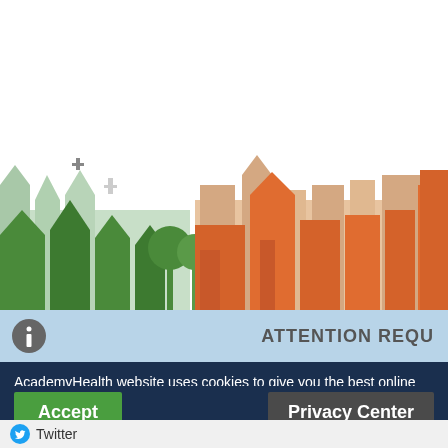[Figure (illustration): AcademyHealth website banner illustration showing a stylized neighborhood skyline with green and orange house/building silhouettes against a white background. Left section shows darker and lighter green houses and trees; right section shows orange/terracotta colored buildings of varying heights.]
ATTENTION REQU
AcademyHealth website uses cookies to give you the best online experience. By continuing to use the site, you consent to the use of cookies.
Accept
Privacy Center
Twitter